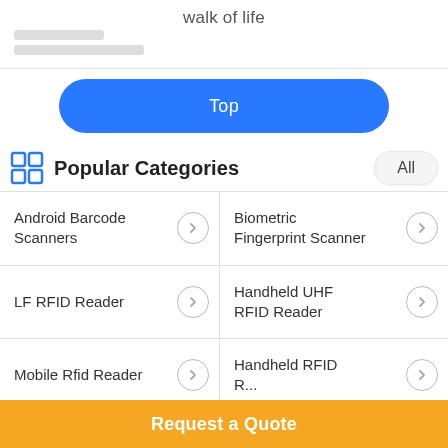walk of life
[Figure (illustration): Partial image placeholder with two grey lines visible at top-left]
Top
Popular Categories
Android Barcode Scanners
Biometric Fingerprint Scanner
LF RFID Reader
Handheld UHF RFID Reader
Mobile Rfid Reader
Handheld RFID Reader
Request a Quote